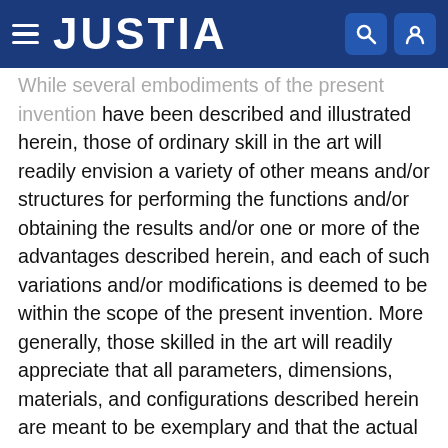JUSTIA
While several embodiments of the present invention have been described and illustrated herein, those of ordinary skill in the art will readily envision a variety of other means and/or structures for performing the functions and/or obtaining the results and/or one or more of the advantages described herein, and each of such variations and/or modifications is deemed to be within the scope of the present invention. More generally, those skilled in the art will readily appreciate that all parameters, dimensions, materials, and configurations described herein are meant to be exemplary and that the actual parameters, dimensions, materials, and/or configurations will depend upon the specific application or applications for which the teachings of the present invention is/are used. Those skilled in the art will recognize, or be able to ascertain using no more than routine experimentation, many